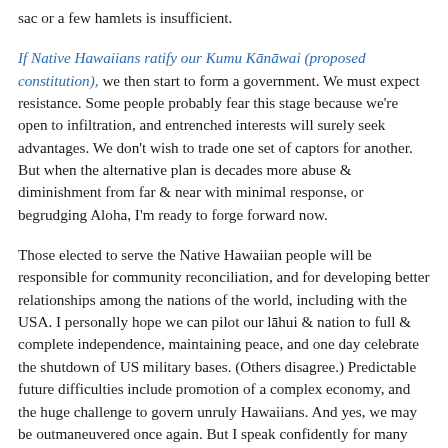sac or a few hamlets is insufficient.
If Native Hawaiians ratify our Kumu Kānāwai (proposed constitution), we then start to form a government. We must expect resistance. Some people probably fear this stage because we're open to infiltration, and entrenched interests will surely seek advantages. We don't wish to trade one set of captors for another. But when the alternative plan is decades more abuse & diminishment from far & near with minimal response, or begrudging Aloha, I'm ready to forge forward now.
Those elected to serve the Native Hawaiian people will be responsible for community reconciliation, and for developing better relationships among the nations of the world, including with the USA. I personally hope we can pilot our lāhui & nation to full & complete independence, maintaining peace, and one day celebrate the shutdown of US military bases. (Others disagree.) Predictable future difficulties include promotion of a complex economy, and the huge challenge to govern unruly Hawaiians. And yes, we may be outmaneuvered once again. But I speak confidently for many